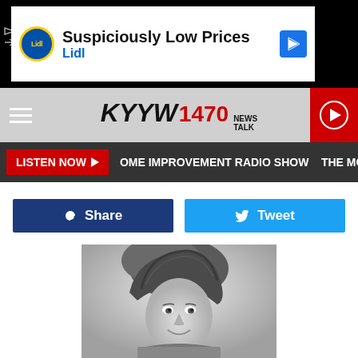[Figure (screenshot): Advertisement banner for Lidl - 'Suspiciously Low Prices Lidl' with Lidl logo and navigation arrow]
[Figure (logo): KYYW 1470 News Talk radio station logo/header with hamburger menu and play button]
LISTEN NOW | HOME IMPROVEMENT RADIO SHOW | THE MONEY PI
[Figure (screenshot): Facebook Share button and Twitter Tweet button]
[Figure (photo): Black and white portrait photo of a woman with a large bouffant hairstyle, smiling]